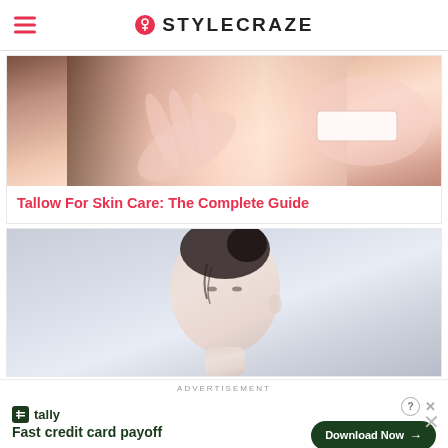STYLECRAZE
[Figure (photo): Close-up of a woman touching her cheek with her hand, smiling, showing teeth. Skin care themed photo.]
Tallow For Skin Care: The Complete Guide
[Figure (photo): A woman with dark hair in a bun, looking down, clean skin, beauty/skincare themed photo against light background.]
ADVERTISEMENT
[Figure (screenshot): Advertisement for Tally app: 'Fast credit card payoff' with Download Now button.]